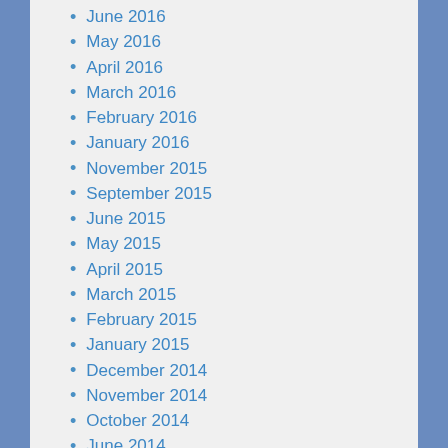June 2016
May 2016
April 2016
March 2016
February 2016
January 2016
November 2015
September 2015
June 2015
May 2015
April 2015
March 2015
February 2015
January 2015
December 2014
November 2014
October 2014
June 2014
March 2014
February 2014
June 2013